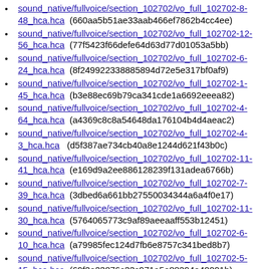sound_native/fullvoice/section_102702/vo_full_102702-8-48_hca.hca (660aa5b51ae33aab466ef7862b4cc4ee)
sound_native/fullvoice/section_102702/vo_full_102702-12-56_hca.hca (77f5423f66defe64d63d77d01053a5bb)
sound_native/fullvoice/section_102702/vo_full_102702-6-24_hca.hca (8f249922338885894d72e5e317bf0af9)
sound_native/fullvoice/section_102702/vo_full_102702-1-45_hca.hca (b3e88ec69b79ca341cde1a6692eeea82)
sound_native/fullvoice/section_102702/vo_full_102702-4-64_hca.hca (a4369c8c8a54648da176104b4d4aeac2)
sound_native/fullvoice/section_102702/vo_full_102702-4-3_hca.hca (d5f387ae734cb40a8e1244d621f43b0c)
sound_native/fullvoice/section_102702/vo_full_102702-11-41_hca.hca (e169d9a2ee886128239f131adea6766b)
sound_native/fullvoice/section_102702/vo_full_102702-7-39_hca.hca (3dbed6a661bb27550034344a6a4f0e17)
sound_native/fullvoice/section_102702/vo_full_102702-11-30_hca.hca (5764065773c9af89aeeaaff553b12451)
sound_native/fullvoice/section_102702/vo_full_102702-6-10_hca.hca (a79985fec124d7fb6e8757c341bed8b7)
sound_native/fullvoice/section_102702/vo_full_102702-5-15_hca.hca (69f2e23876c33c971a5e88294e40001b)
sound_native/fullvoice/section_102702/vo_full_102702-7-80_hca.hca (23241146b1de17f84eed595f884d61c6)
sound_native/fullvoice/section_102702/vo_full_102702-8-